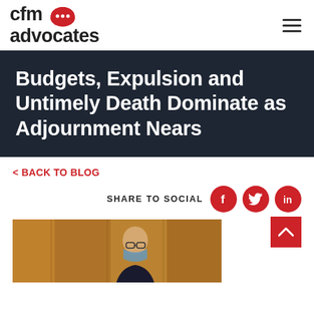cfm advocates
Budgets, Expulsion and Untimely Death Dominate as Adjournment Nears
< BACK TO BLOG
SHARE TO SOCIAL
[Figure (photo): Photo of a masked person in a formal setting, visible from shoulders up]